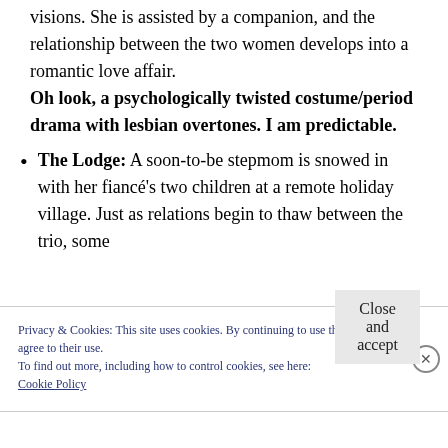visions. She is assisted by a companion, and the relationship between the two women develops into a romantic love affair. Oh look, a psychologically twisted costume/period drama with lesbian overtones. I am predictable.
The Lodge: A soon-to-be stepmom is snowed in with her fiancé's two children at a remote holiday village. Just as relations begin to thaw between the trio, some
Privacy & Cookies: This site uses cookies. By continuing to use this website, you agree to their use.
To find out more, including how to control cookies, see here:
Cookie Policy
Close and accept